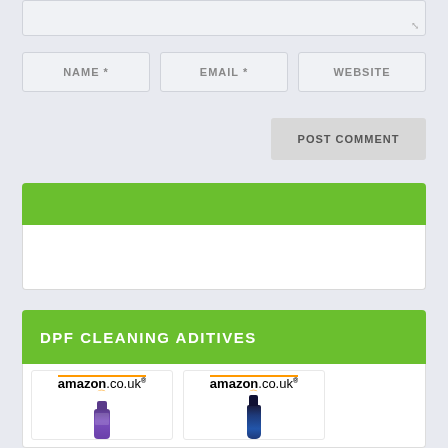[Figure (screenshot): Grey textarea input box stub at top of page with resize handle icon]
NAME *
EMAIL *
WEBSITE
POST COMMENT
[Figure (screenshot): Green header bar followed by white content area (empty)]
DPF CLEANING ADITIVES
[Figure (screenshot): Two Amazon.co.uk product listing cards showing cleaning additive bottles - one purple bottle and one blue bottle]